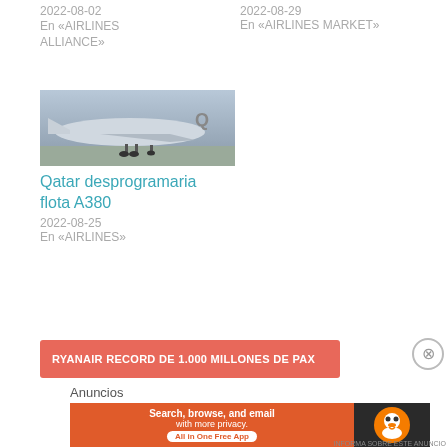2022-08-02
En «AIRLINES ALLIANCE»
2022-08-29
En «AIRLINES MARKET»
[Figure (photo): Airplane tail and fuselage with Qatar livery on tarmac]
Qatar desprogramaria flota A380
2022-08-25
En «AIRLINES»
RYANAIR RECORD DE 1.000 MILLONES DE PAX
Anuncios
[Figure (screenshot): DuckDuckGo advertisement: Search, browse, and email with more privacy. All in One Free App]